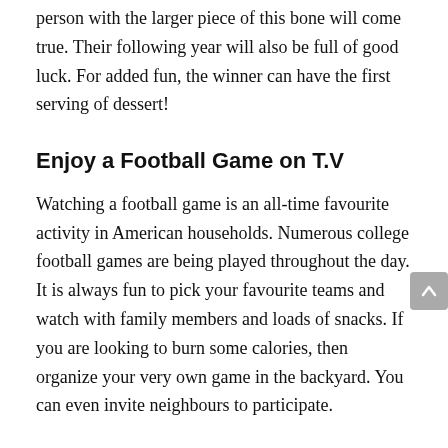person with the larger piece of this bone will come true. Their following year will also be full of good luck. For added fun, the winner can have the first serving of dessert!
Enjoy a Football Game on T.V
Watching a football game is an all-time favourite activity in American households. Numerous college football games are being played throughout the day. It is always fun to pick your favourite teams and watch with family members and loads of snacks. If you are looking to burn some calories, then organize your very own game in the backyard. You can even invite neighbours to participate.
Make a Gratitude Tree